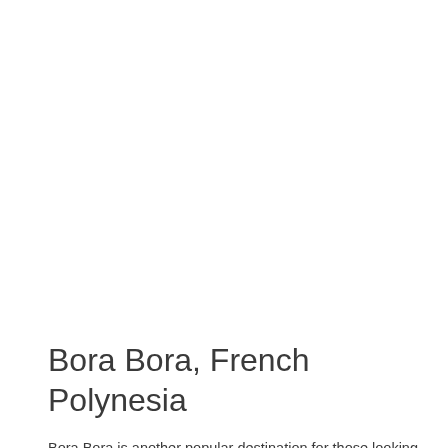Bora Bora, French Polynesia
Bora Bora is another popular destination for those looking to take a